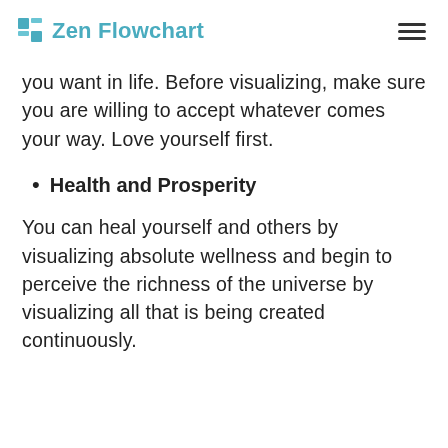Zen Flowchart
you want in life. Before visualizing, make sure you are willing to accept whatever comes your way. Love yourself first.
Health and Prosperity
You can heal yourself and others by visualizing absolute wellness and begin to perceive the richness of the universe by visualizing all that is being created continuously.